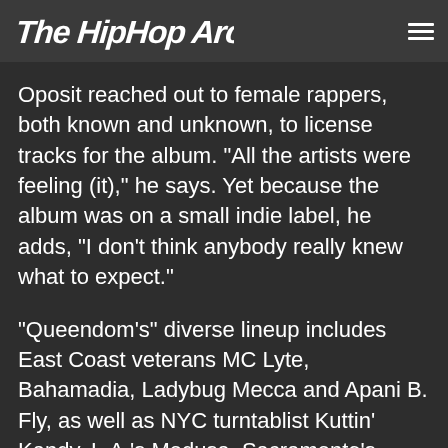The Hip Hop Archive
Oposit reached out to female rappers, both known and unknown, to license tracks for the album. "All the artists were feeling (it)," he says. Yet because the album was on a small indie label, he adds, "I don't think anybody really knew what to expect."
"Queendom's" diverse lineup includes East Coast veterans MC Lyte, Bahamadia, Ladybug Mecca and Apani B. Fly, as well as NYC turntablist Kuttin' Kandy, L.A.'s Medusa, Sacramento's Tenashus, Portland's Siren's Echo, and Australia's Macromantics. Thankfully, "Queendom" doesn't overlook the Bay Area's feminine hip-hop royalty: Pioneering women such as the Conscious